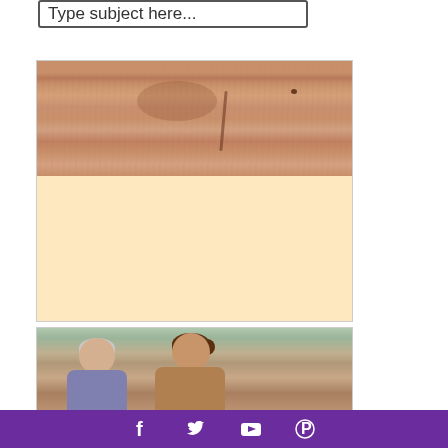Type subject here...
[Figure (photo): Close-up photo of skin showing a scar or lesion on the upper chest/neck area, with a cream/blank lower section]
[Figure (photo): Photo of an elderly woman and a younger caregiver woman outdoors, smiling at each other]
Social media icons: Facebook, Twitter, YouTube, Pinterest